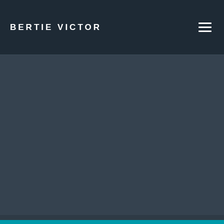BERTIE VICTOR
[Figure (other): Hamburger menu icon (three horizontal lines) in the top-right corner of the navigation bar]
[Figure (other): Large dark blue-grey rectangular content area filling the main body of the page below the header]
[Figure (other): Teal/cyan horizontal bar at the bottom of the page]